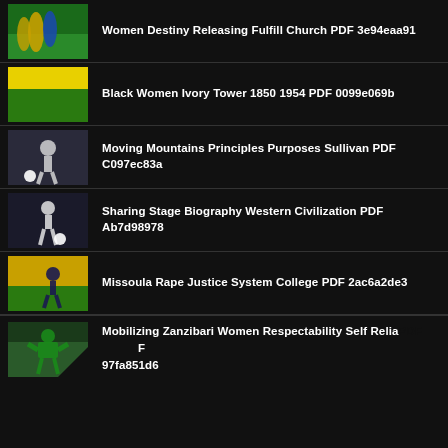Women Destiny Releasing Fulfill Church PDF 3e94eaa91
Black Women Ivory Tower 1850 1954 PDF 0099e069b
Moving Mountains Principles Purposes Sullivan PDF C097ec83a
Sharing Stage Biography Western Civilization PDF Ab7d98978
Missoula Rape Justice System College PDF 2ac6a2de3
Mobilizing Zanzibari Women Respectability Self Relia… PDF 97fa851d6